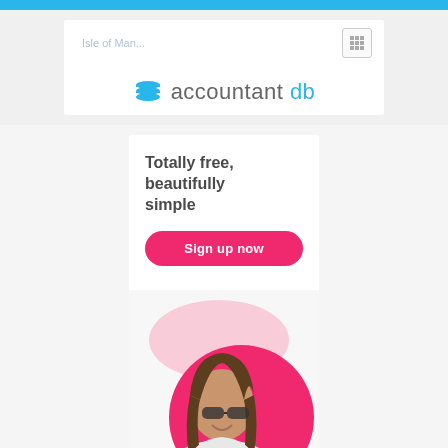[Figure (screenshot): Browser top bar in blue]
[Figure (logo): accountant db logo with blue database icon, text reads 'accountant db' with 'db' in blue, search bar showing 'Isle of Man...' and grid icon button]
Totally free, beautifully simple
[Figure (illustration): Sign up now button in pink/magenta, followed by decorative pink blobs and photo of smiling woman with sunglasses looking at phone]